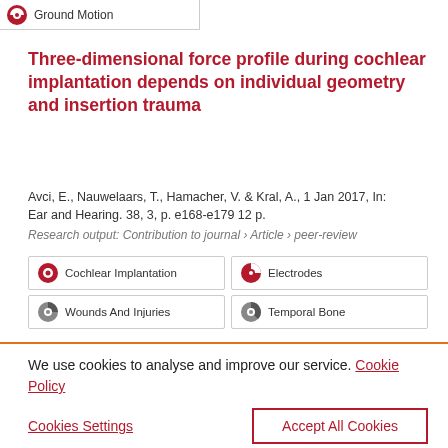[Figure (logo): Ground Motion badge icon with red circle logo]
Three-dimensional force profile during cochlear implantation depends on individual geometry and insertion trauma
Avci, E., Nauwelaars, T., Hamacher, V. & Kral, A., 1 Jan 2017, In: Ear and Hearing. 38, 3, p. e168-e179 12 p.
Research output: Contribution to journal › Article › peer-review
Cochlear Implantation
Electrodes
Wounds And Injuries
Temporal Bone
We use cookies to analyse and improve our service. Cookie Policy
Cookies Settings
Accept All Cookies